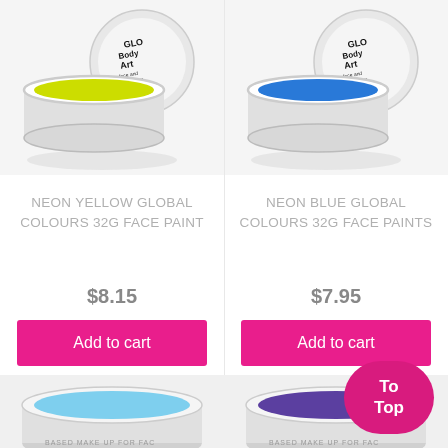[Figure (photo): Neon Yellow Global Colours 32g face paint round tin with open lid showing bright yellow paint, white background]
[Figure (photo): Neon Blue Global Colours 32g face paint round tin with open lid showing bright blue paint, white background]
NEON YELLOW GLOBAL COLOURS 32G FACE PAINT
NEON BLUE GLOBAL COLOURS 32G FACE PAINTS
$8.15
$7.95
Add to cart
Add to cart
[Figure (photo): Partial view of a face paint tin at bottom left, light blue color visible]
[Figure (photo): Partial view of a face paint tin at bottom right, purple/blue color visible]
To Top